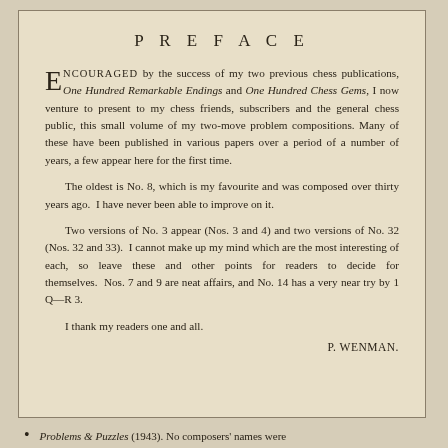PREFACE
ENCOURAGED by the success of my two previous chess publications, One Hundred Remarkable Endings and One Hundred Chess Gems, I now venture to present to my chess friends, subscribers and the general chess public, this small volume of my two-move problem compositions. Many of these have been published in various papers over a period of a number of years, a few appear here for the first time.
The oldest is No. 8, which is my favourite and was composed over thirty years ago. I have never been able to improve on it.
Two versions of No. 3 appear (Nos. 3 and 4) and two versions of No. 32 (Nos. 32 and 33). I cannot make up my mind which are the most interesting of each, so leave these and other points for readers to decide for themselves. Nos. 7 and 9 are neat affairs, and No. 14 has a very near try by 1 Q—R 3.
I thank my readers one and all.
P. WENMAN.
Problems & Puzzles (1943). No composers' names were